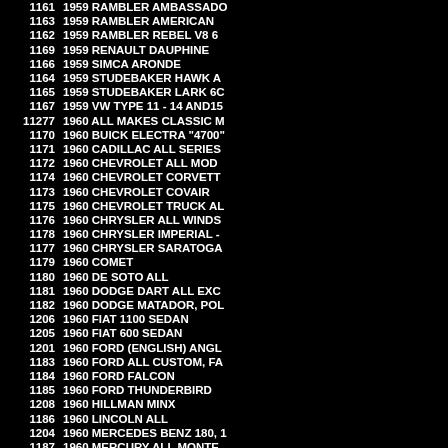| ID | Description |
| --- | --- |
| 1161 | 1959 RAMBLER AMBASSADOR |
| 1163 | 1959 RAMBLER AMERICAN |
| 1162 | 1959 RAMBLER REBEL V8 6 |
| 1169 | 1959 RENAULT DAUPHINE |
| 1166 | 1959 SIMCA ARONDE |
| 1164 | 1959 STUDEBAKER HAWK A |
| 1165 | 1959 STUDEBAKER LARK 6C |
| 1167 | 1959 VW TYPE 11 - 14 AND15 |
| 11277 | 1960 ALL MAKES CLASSIC M |
| 1170 | 1960 BUICK ELECTRA "4700" |
| 1171 | 1960 CADILLAC ALL SERIES |
| 1172 | 1960 CHEVROLET ALL MOD |
| 1174 | 1960 CHEVROLET CORVETT |
| 1173 | 1960 CHEVROLET COVAIR |
| 1175 | 1960 CHEVROLET TRUCK AL |
| 1176 | 1960 CHRYSLER ALL WINDS |
| 1178 | 1960 CHRYSLER IMPERIAL - |
| 1177 | 1960 CHRYSLER SARATOGA |
| 1179 | 1960 COMET |
| 1180 | 1960 DE SOTO ALL |
| 1181 | 1960 DODGE DART ALL EXC |
| 1182 | 1960 DODGE MATADOR, POL |
| 1206 | 1960 FIAT 1100 SEDAN |
| 1205 | 1960 FIAT 600 SEDAN |
| 1201 | 1960 FORD (ENGLISH) ANGL |
| 1183 | 1960 FORD ALL CUSTOM, FA |
| 1184 | 1960 FORD FALCON |
| 1185 | 1960 FORD THUNDERBIRD |
| 1208 | 1960 HILLMAN MINX |
| 1186 | 1960 LINCOLN ALL |
| 1204 | 1960 MERCEDES BENZ 180, 1 |
| 1187 | 1960 MERCURY ALL MONTE |